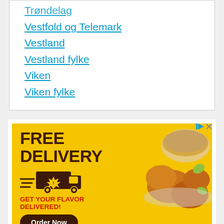Trøndelag (truncated/partially visible)
Vestfold og Telemark
Vestland
Vestland fylke
Viken
Viken fylke
[Figure (screenshot): Advertisement banner with yellow background. Large dark brown bold text reads 'FREE DELIVERY'. Below is a delivery truck icon with motion lines. Red bold text reads 'GET YOUR FLAVOR DELIVERED!'. A dark brown rounded button says 'Order Now'. Fine print reads 'Valid only at participating locations.' Right side shows a photo of fried chicken and rice dishes. Top right corner has ad controls (play and close icons).]
[Figure (screenshot): Bottom advertisement bar with white background. Shows a play icon, a black circular logo with infinity symbol, a green checkmark, text 'In-store shopping', a blue diamond navigation icon, and a close X icon.]